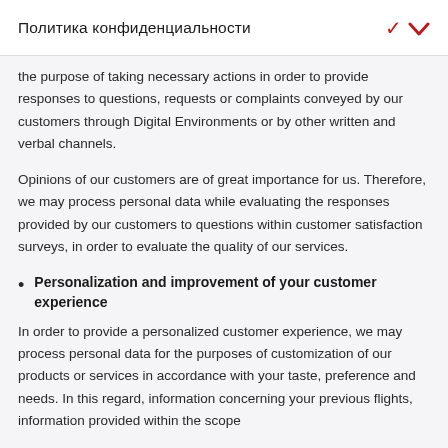Политика конфиденциальности
the purpose of taking necessary actions in order to provide responses to questions, requests or complaints conveyed by our customers through Digital Environments or by other written and verbal channels.
Opinions of our customers are of great importance for us. Therefore, we may process personal data while evaluating the responses provided by our customers to questions within customer satisfaction surveys, in order to evaluate the quality of our services.
Personalization and improvement of your customer experience
In order to provide a personalized customer experience, we may process personal data for the purposes of customization of our products or services in accordance with your taste, preference and needs. In this regard, information concerning your previous flights, information provided within the scope